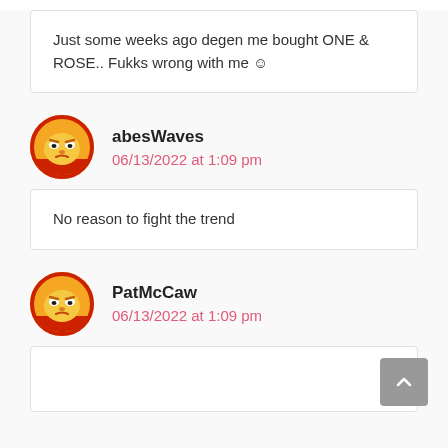Just some weeks ago degen me bought ONE & ROSE.. Fukks wrong with me ☺
abesWaves
06/13/2022 at 1:09 pm
No reason to fight the trend
PatMcCaw
06/13/2022 at 1:09 pm